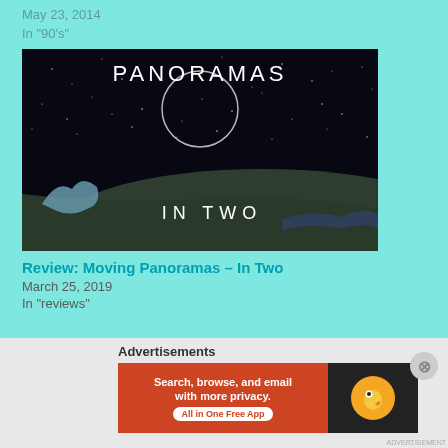May 23, 2014
In "90's"
[Figure (photo): Album cover for Moving Panoramas – In Two. Dark starry sky background with white text 'PANORAMAS' at top and 'IN TWO' in the lower center. A whale tail is visible at lower left.]
Review: Moving Panoramas – In Two
March 25, 2019
In "reviews"
Advertisements
[Figure (screenshot): DuckDuckGo advertisement banner. Left side orange with text 'Search, browse, and email with more privacy. All in One Free App'. Right side dark with DuckDuckGo logo.]